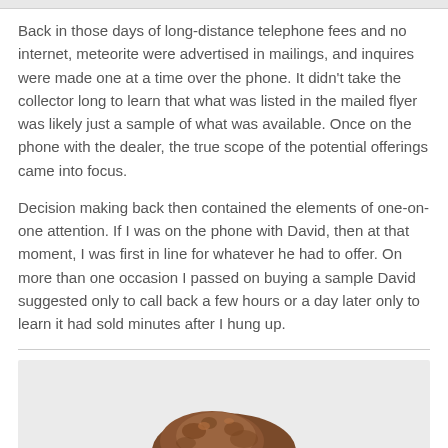Back in those days of long-distance telephone fees and no internet, meteorite were advertised in mailings, and inquires were made one at a time over the phone. It didn't take the collector long to learn that what was listed in the mailed flyer was likely just a sample of what was available. Once on the phone with the dealer, the true scope of the potential offerings came into focus.
Decision making back then contained the elements of one-on-one attention. If I was on the phone with David, then at that moment, I was first in line for whatever he had to offer. On more than one occasion I passed on buying a sample David suggested only to call back a few hours or a day later only to learn it had sold minutes after I hung up.
[Figure (photo): A meteorite specimen photographed against a light gray background, showing a dark brown/rusty colored irregular rock shape, partially visible at the bottom of the page.]